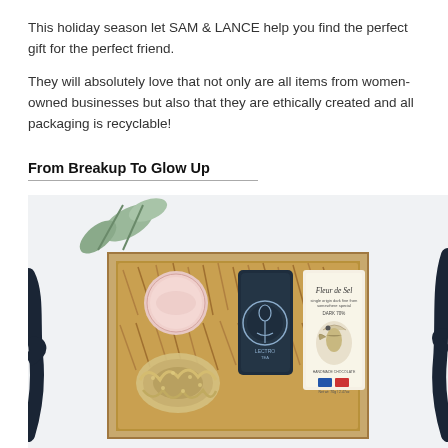This holiday season let SAM & LANCE help you find the perfect gift for the perfect friend.
They will absolutely love that not only are all items from women-owned businesses but also that they are ethically created and all packaging is recyclable!
From Breakup To Glow Up
[Figure (photo): Overhead flat-lay photo of a gift box filled with brown paper shredding containing: a round pink compact/container, a dark navy cylindrical tea tin with decorative logo, a metallic/gold scrunchie, a chocolate bar labeled 'Fleur de Sel', and dark navy ribbon draped around the box. A eucalyptus sprig is visible in the upper left corner.]